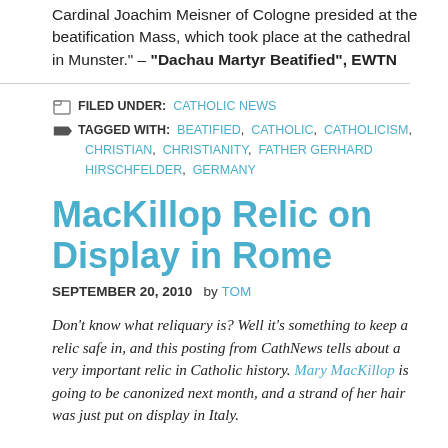Cardinal Joachim Meisner of Cologne presided at the beatification Mass, which took place at the cathedral in Munster." – "Dachau Martyr Beatified", EWTN
FILED UNDER: CATHOLIC NEWS
TAGGED WITH: BEATIFIED, CATHOLIC, CATHOLICISM, CHRISTIAN, CHRISTIANITY, FATHER GERHARD HIRSCHFELDER, GERMANY
MacKillop Relic on Display in Rome
SEPTEMBER 20, 2010  by TOM
Don't know what reliquary is? Well it's something to keep a relic safe in, and this posting from CathNews tells about a very important relic in Catholic history. Mary MacKillop is going to be canonized next month, and a strand of her hair was just put on display in Italy.